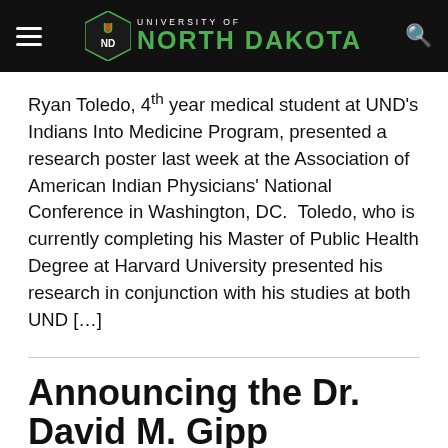University of North Dakota
Ryan Toledo, 4th year medical student at UND's Indians Into Medicine Program, presented a research poster last week at the Association of American Indian Physicians' National Conference in Washington, DC.  Toledo, who is currently completing his Master of Public Health Degree at Harvard University presented his research in conjunction with his studies at both UND […]
Announcing the Dr. David M. Gipp Scholarship Endowment
INMED
July 15, 2021